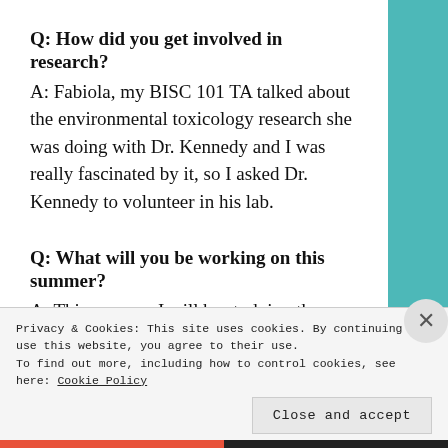Q: How did you get involved in research? A: Fabiola, my BISC 101 TA talked about the environmental toxicology research she was doing with Dr. Kennedy and I was really fascinated by it, so I asked Dr. Kennedy to volunteer in his lab.
Q: What will you be working on this summer? A: This summer I will be studying the lethal and sublethal toxicity of four anti-parasitic chemotherapeutants: ivermectin, SLICE®, Salmosan® and Paramove 50® on marine benthic
Privacy & Cookies: This site uses cookies. By continuing to use this website, you agree to their use. To find out more, including how to control cookies, see here: Cookie Policy
Close and accept